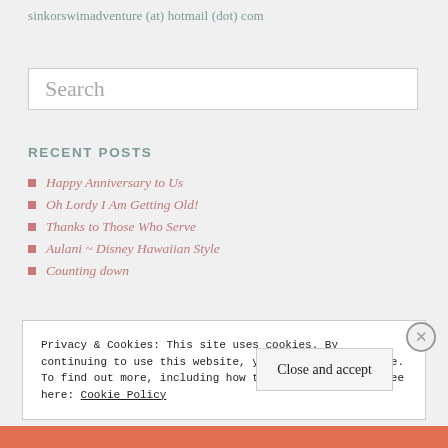sinkorswimadventure (at) hotmail (dot) com
Search
RECENT POSTS
Happy Anniversary to Us
Oh Lordy I Am Getting Old!
Thanks to Those Who Serve
Aulani ~ Disney Hawaiian Style
Counting down
Privacy & Cookies: This site uses cookies. By continuing to use this website, you agree to their use. To find out more, including how to control cookies, see here: Cookie Policy
Close and accept